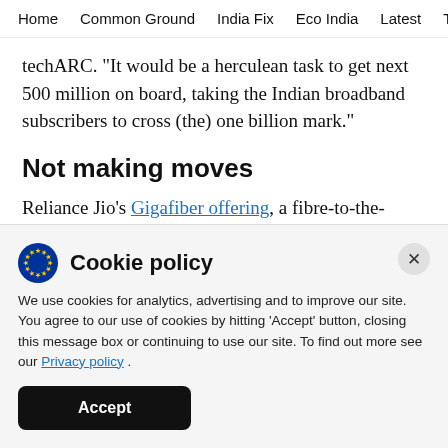Home  Common Ground  India Fix  Eco India  Latest  Th
techARC. “It would be a herculean task to get next 500 million on board, taking the Indian broadband subscribers to cross (the) one billion mark.”
Not making moves
Reliance Jio’s Gigafiber offering, a fibre-to-the-home broadband service, is perhaps one of the only
Cookie policy
We use cookies for analytics, advertising and to improve our site. You agree to our use of cookies by hitting ‘Accept’ button, closing this message box or continuing to use our site. To find out more see our Privacy policy .
Accept